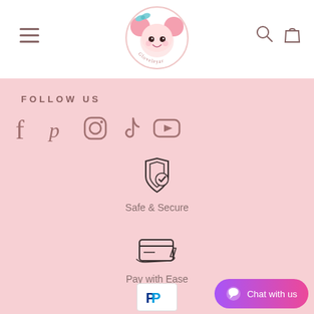[Figure (logo): Gloveleyar cute girl logo in circle]
[Figure (illustration): Hamburger menu icon (three horizontal lines)]
[Figure (illustration): Search icon and shopping bag icon in header]
FOLLOW US
[Figure (illustration): Social media icons: Facebook, Pinterest, Instagram, TikTok, YouTube]
[Figure (illustration): Shield with checkmark icon for Safe & Secure]
Safe & Secure
[Figure (illustration): Hand holding credit card icon for Pay with Ease]
Pay with Ease
[Figure (logo): PayPal logo badge]
Chat with us